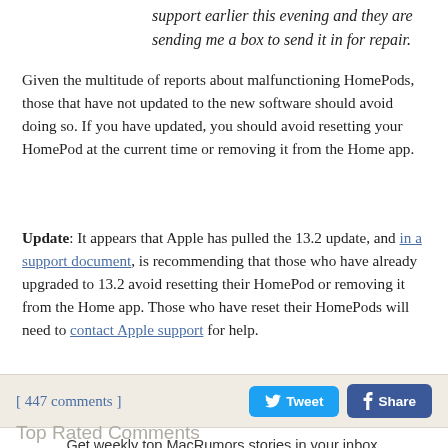support earlier this evening and they are sending me a box to send it in for repair.
Given the multitude of reports about malfunctioning HomePods, those that have not updated to the new software should avoid doing so. If you have updated, you should avoid resetting your HomePod at the current time or removing it from the Home app.
Update: It appears that Apple has pulled the 13.2 update, and in a support document, is recommending that those who have already upgraded to 13.2 avoid resetting their HomePod or removing it from the Home app. Those who have reset their HomePods will need to contact Apple support for help.
[ 447 comments ]
Get weekly top MacRumors stories in your inbox.
Top Rated Comments